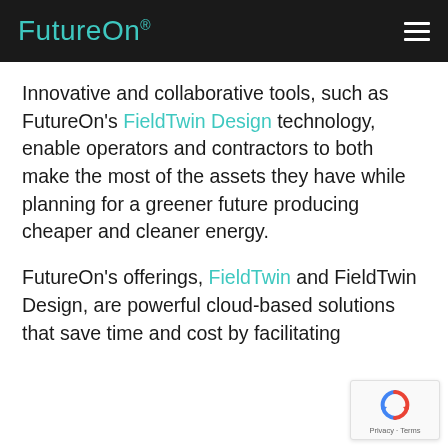FutureOn®
Innovative and collaborative tools, such as FutureOn's FieldTwin Design technology, enable operators and contractors to both make the most of the assets they have while planning for a greener future producing cheaper and cleaner energy.
FutureOn's offerings, FieldTwin and FieldTwin Design, are powerful cloud-based solutions that save time and cost by facilitating